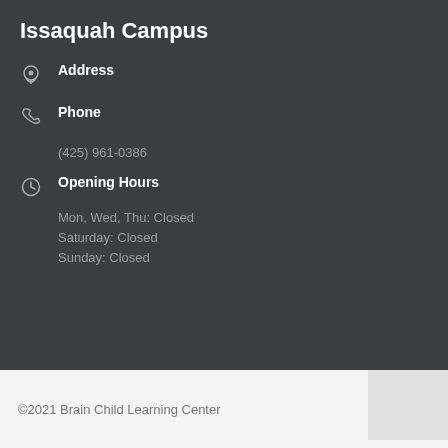Issaquah Campus
Address
Phone
(425) 961-0386
Opening Hours
Mon, Wed, Thu: Closed
Saturday: Closed
Sunday: Closed
©2021 Brain Child Learning Center